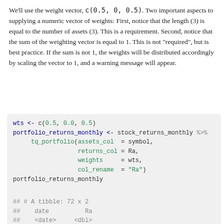We'll use the weight vector, c(0.5, 0, 0.5). Two important aspects to supplying a numeric vector of weights: First, notice that the length (3) is equal to the number of assets (3). This is a requirement. Second, notice that the sum of the weighting vector is equal to 1. This is not “required”, but is best practice. If the sum is not 1, the weights will be distributed accordingly by scaling the vector to 1, and a warning message will appear.
[Figure (screenshot): R code block: wts <- c(0.5, 0.0, 0.5) and portfolio_returns_monthly <- stock_returns_monthly %>% tq_portfolio(assets_col = symbol, returns_col = Ra, weights = wts, col_rename = "Ra") portfolio_returns_monthly]
[Figure (screenshot): R console output: ## # A tibble: 72 x 2 ## date Ra ## <date> <dbl> ## 1 2010-01-29 0.0307 ## 2 2010-02-26 0.0629]